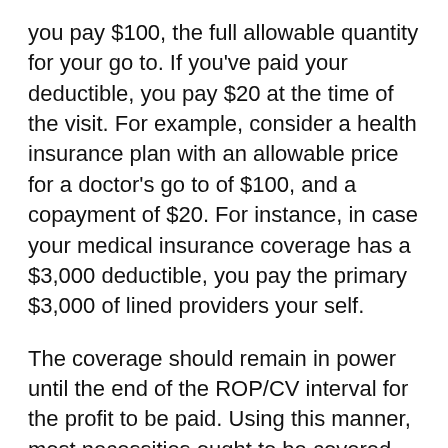you pay $100, the full allowable quantity for your go to. If you've paid your deductible, you pay $20 at the time of the visit. For example, consider a health insurance plan with an allowable price for a doctor's go to of $100, and a copayment of $20. For instance, in case your medical insurance coverage has a $3,000 deductible, you pay the primary $3,000 of lined providers your self.
The coverage should remain in power until the end of the ROP/CV interval for the profit to be paid. Using this manner, most necessities ought to be covered, but as is the sensible rule of any insurance policy, buy more than what you need, particularly if you want to be coated for a sure time period. With this profit, you may get back all of your premiums paid, minus claims incurred.